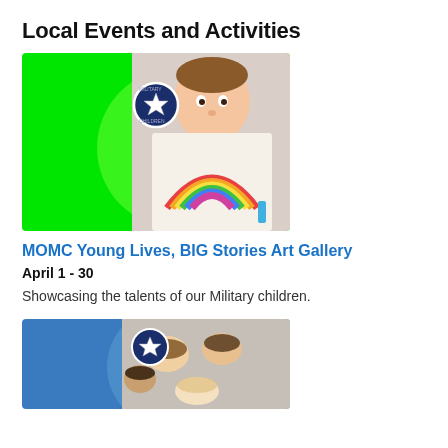Local Events and Activities
[Figure (illustration): Event card image with bright green background on left side, and on right a child holding up a paper with a painted rainbow. A circular navy blue badge with a white star is overlaid at the top center of the image.]
MOMC Young Lives, BIG Stories Art Gallery
April 1 - 30
Showcasing the talents of our Military children.
[Figure (photo): Event card with blue background on left, circular badge with white star at top, and a photo of a group of people huddled together looking down at camera, partially visible.]